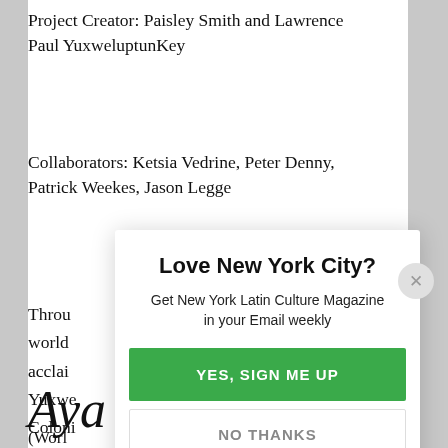Project Creator: Paisley Smith and Lawrence Paul YuxweluptunKey
Collaborators: Ketsia Vedrine, Peter Denny, Patrick Weekes, Jason Legge
Throu... world... acclai... Yuxwe... Coloni... behin...
Aya
(Work...
[Figure (screenshot): Modal popup overlay with close button (X), title 'Love New York City?', subtitle 'Get New York Latin Culture Magazine in your Email weekly', a green 'YES, SIGN ME UP' button, and a white 'NO THANKS' button with border.]